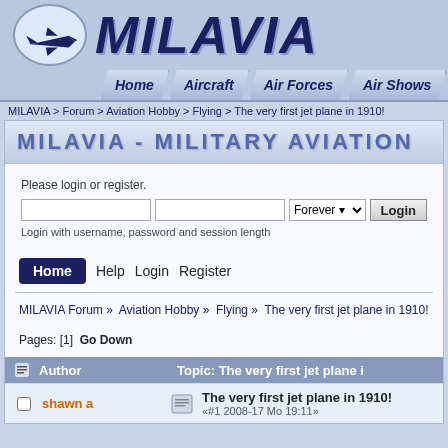[Figure (logo): MILAVIA military aviation website header with logo (fighter jet in oval) and site name MILAVIA in large italic bold text]
Home   Aircraft   Air Forces   Air Shows
MILAVIA > Forum > Aviation Hobby > Flying > The very first jet plane in 1910!
MILAVIA - MILITARY AVIATION
Please login or register.
Login with username, password and session length
Home   Help   Login   Register
MILAVIA Forum »  Aviation Hobby »  Flying »  The very first jet plane in 1910!
Pages: [1]  Go Down
Author   Topic: The very first jet plane i
shawn a   The very first jet plane in 1910!